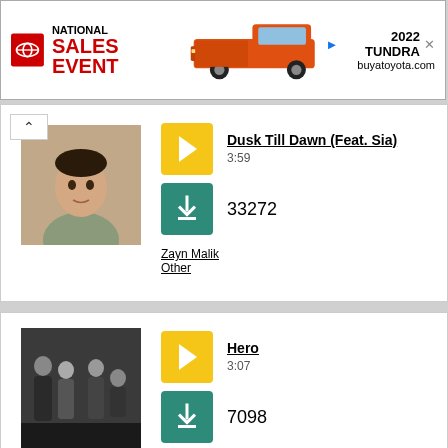[Figure (photo): Toyota National Sales Event advertisement banner with Toyota logo, red pickup truck, text '2022 TUNDRA' and 'buyatoyota.com']
[Figure (photo): Photo of Zayn Malik, young man with dark hair]
Dusk Till Dawn (Feat. Sia)
3:59
33272
Zayn Malik
Other
[Figure (photo): Photo of Skillet band members, group of four people posing]
Hero
3:07
7098
Skillet
Other